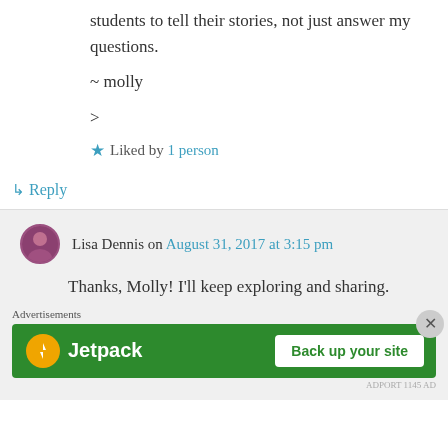students to tell their stories, not just answer my questions.
~ molly
>
★ Liked by 1 person
↳ Reply
Lisa Dennis on August 31, 2017 at 3:15 pm
Thanks, Molly! I'll keep exploring and sharing.
Advertisements
[Figure (screenshot): Jetpack advertisement banner with green background, Jetpack logo on left and 'Back up your site' white button on right]